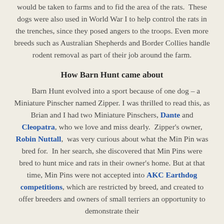would be taken to farms and to fid the area of the rats. These dogs were also used in World War I to help control the rats in the trenches, since they posed angers to the troops. Even more breeds such as Australian Shepherds and Border Collies handle rodent removal as part of their job around the farm.
How Barn Hunt came about
Barn Hunt evolved into a sport because of one dog – a Miniature Pinscher named Zipper. I was thrilled to read this, as Brian and I had two Miniature Pinschers, Dante and Cleopatra, who we love and miss dearly. Zipper's owner, Robin Nuttall, was very curious about what the Min Pin was bred for. In her search, she discovered that Min Pins were bred to hunt mice and rats in their owner's home. But at that time, Min Pins were not accepted into AKC Earthdog competitions, which are restricted by breed, and created to offer breeders and owners of small terriers an opportunity to demonstrate their